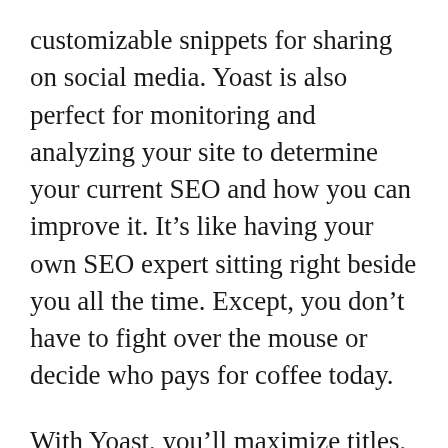customizable snippets for sharing on social media. Yoast is also perfect for monitoring and analyzing your site to determine your current SEO and how you can improve it. It’s like having your own SEO expert sitting right beside you all the time. Except, you don’t have to fight over the mouse or decide who pays for coffee today.
With Yoast, you’ll maximize titles, keywords, content length, outbound links, and alt text. You’ll also get simple suggestions for improving readability like repeated words, transition words, subheadings, length of paragraphs, and use of passive voice. Your content will read smarter,